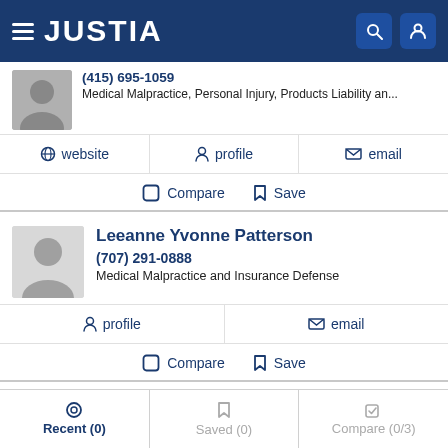JUSTIA
(415) 695-1059 | Medical Malpractice, Personal Injury, Products Liability an...
website | profile | email
Compare | Save
Leeanne Yvonne Patterson
(707) 291-0888
Medical Malpractice and Insurance Defense
profile | email
Compare | Save
Recent (0) | Saved (0) | Compare (0/3)